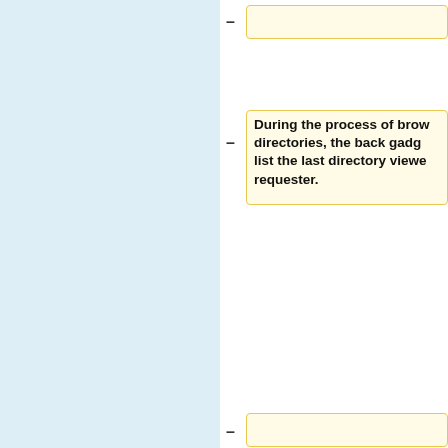During the process of browsing directories, the back gadget list the last directory viewed requester.
""" >  (Forward)"""
Similar to the back gadget browses through directories history.